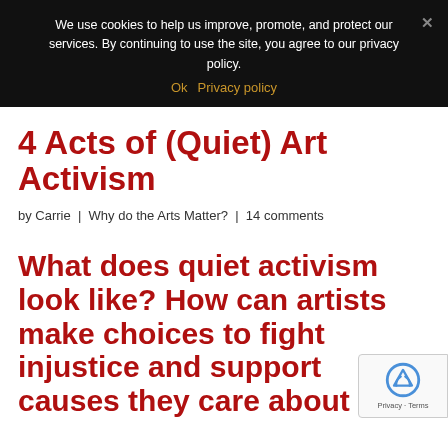We use cookies to help us improve, promote, and protect our services. By continuing to use the site, you agree to our privacy policy.
Ok  Privacy policy
4 Acts of (Quiet) Art Activism
by Carrie | Why do the Arts Matter? | 14 comments
What does quiet activism look like? How can artists make choices to fight injustice and support causes they care about